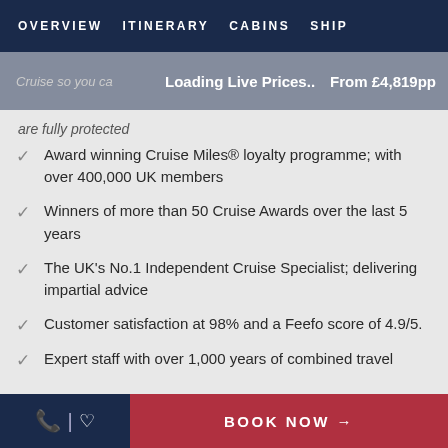OVERVIEW   ITINERARY   CABINS   SHIP
Loading Live Prices..   From £4,819pp
are fully protected
Award winning Cruise Miles® loyalty programme; with over 400,000 UK members
Winners of more than 50 Cruise Awards over the last 5 years
The UK's No.1 Independent Cruise Specialist; delivering impartial advice
Customer satisfaction at 98% and a Feefo score of 4.9/5.
Expert staff with over 1,000 years of combined travel
BOOK NOW →